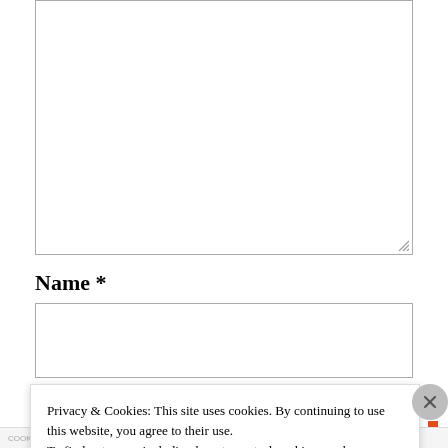[Figure (other): Empty textarea form field with resize handle in bottom-right corner]
Name *
[Figure (other): Empty single-line text input field for Name]
Privacy & Cookies: This site uses cookies. By continuing to use this website, you agree to their use.
To find out more, including how to control cookies, see here: Cookie Policy
Close and accept